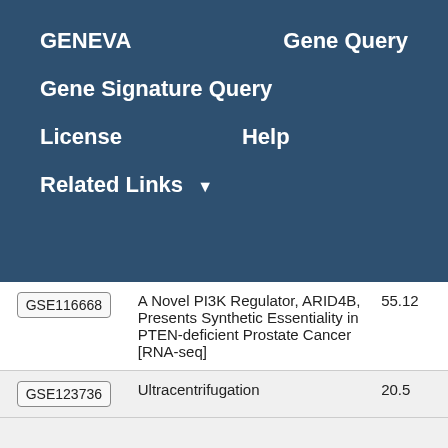GENEVA    Gene Query
Gene Signature Query
License    Help
Related Links ▾
| GSE ID | Title | Score |
| --- | --- | --- |
| GSE116668 | A Novel PI3K Regulator, ARID4B, Presents Synthetic Essentiality in PTEN-deficient Prostate Cancer [RNA-seq] | 55.12 |
| GSE123736 | Ultracentrifugation | 20.5 |